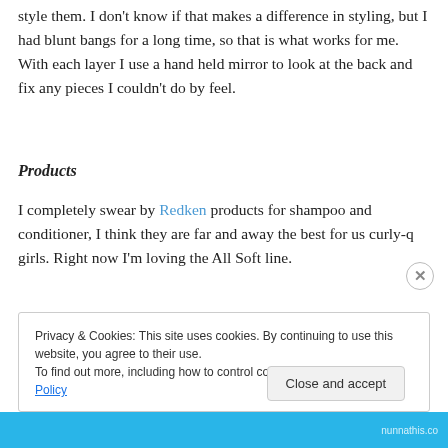style them. I don't know if that makes a difference in styling, but I had blunt bangs for a long time, so that is what works for me. With each layer I use a hand held mirror to look at the back and fix any pieces I couldn't do by feel.
Products
I completely swear by Redken products for shampoo and conditioner, I think they are far and away the best for us curly-q girls. Right now I'm loving the All Soft line.
Privacy & Cookies: This site uses cookies. By continuing to use this website, you agree to their use.
To find out more, including how to control cookies, see here: Cookie Policy
Close and accept